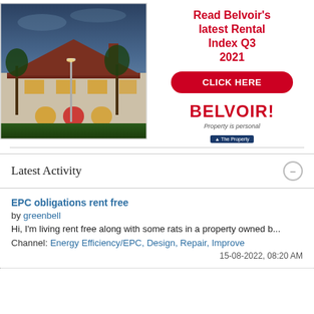[Figure (photo): Advertisement banner showing a large house at dusk with warm interior lighting, trees, and a grey sky. Right side shows Belvoir rental index promotion.]
Read Belvoir's latest Rental Index Q3 2021
CLICK HERE
BELVOIR! Property is personal
Latest Activity
EPC obligations rent free
by greenbell
Hi, I'm living rent free along with some rats in a property owned b...
Channel: Energy Efficiency/EPC, Design, Repair, Improve
15-08-2022, 08:20 AM